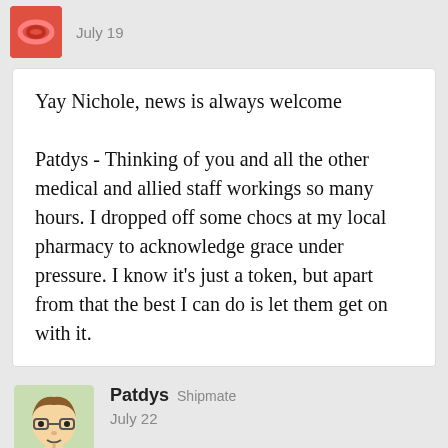July 19
Yay Nichole, news is always welcome

Patdys - Thinking of you and all the other medical and allied staff workings so many hours. I dropped off some chocs at my local pharmacy to acknowledge grace under pressure. I know it's just a token, but apart from that the best I can do is let them get on with it.
Patdys Shipmate
July 22
The little things make a huge difference!